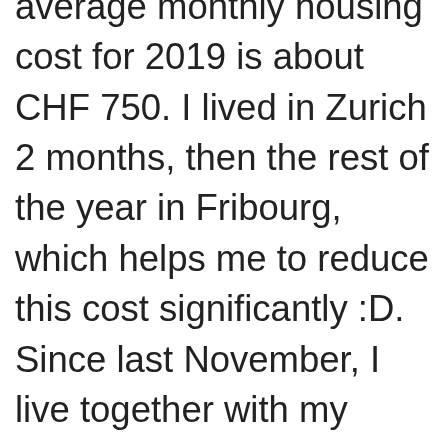average monthly housing cost for 2019 is about CHF 750. I lived in Zurich 2 months, then the rest of the year in Fribourg, which helps me to reduce this cost significantly :D. Since last November, I live together with my girlfriend and bear 60% of the rent cost (approx. CHF 1.1k per month), which is IMHO far from frugal! Prior to this I was living in a shared flat.

Regarding the food budget: Basically I split my food expenses between meal taken at home (=food) and meals taken outside (=restaurants). The total cost of my food budget amounts as of beg. Nov. to CHF 3'667